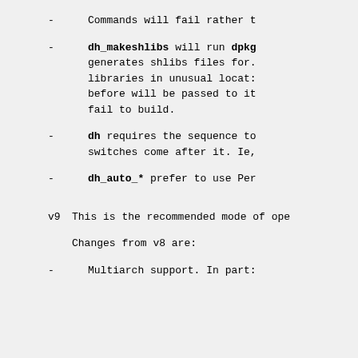- Commands will fail rather t
- dh_makeshlibs will run dpkg generates shlibs files for. libraries in unusual locat: before will be passed to it fail to build.
- dh requires the sequence to switches come after it. Ie,
- dh_auto_* prefer to use Per
v9  This is the recommended mode of ope
Changes from v8 are:
- Multiarch support. In part: